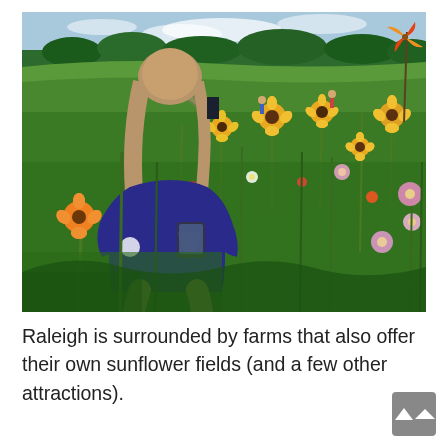[Figure (photo): A girl with long brown hair wearing a navy blue t-shirt stands with her back to the camera, holding a tablet or phone, surrounded by a lush wildflower field with sunflowers, pink cosmos, and other colorful flowers. A path winds through the field in the background, with trees on the horizon and a partly cloudy sky. An orange pinwheel is visible on the right side.]
Raleigh is surrounded by farms that also offer their own sunflower fields (and a few other attractions).